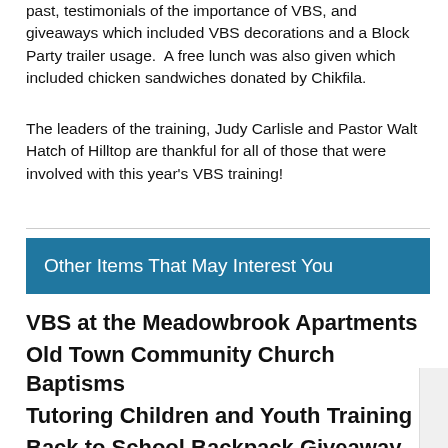past, testimonials of the importance of VBS, and giveaways which included VBS decorations and a Block Party trailer usage.  A free lunch was also given which included chicken sandwiches donated by Chikfila.
The leaders of the training, Judy Carlisle and Pastor Walt Hatch of Hilltop are thankful for all of those that were involved with this year's VBS training!
Other Items That May Interest You
VBS at the Meadowbrook Apartments
Old Town Community Church Baptisms
Tutoring Children and Youth Training
Back to School Backpack Giveaway